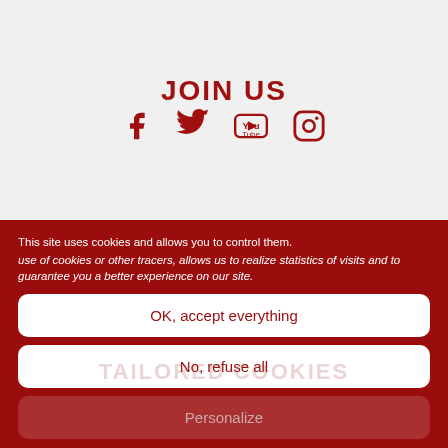JOIN US
[Figure (infographic): Four social media icons in dark red: Facebook, Twitter, YouTube, Instagram]
This site uses cookies and allows you to control them.
use of cookies or other tracers, allows us to realize statistics of visits and to guarantee you a better experience on our site.
OK, accept everything
No, refuse all
Personalize